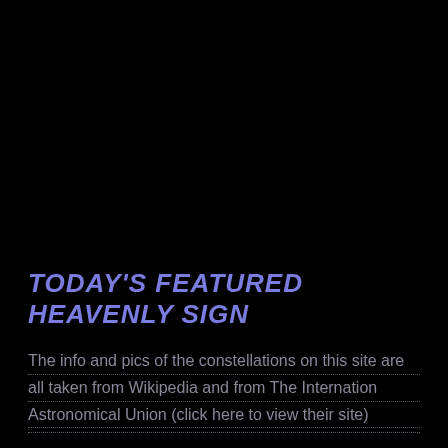TODAY'S FEATURED HEAVENLY SIGN
The info and pics of the constellations on this site are all taken from Wikipedia and from The Internation Astronomical Union (click here to view their site)